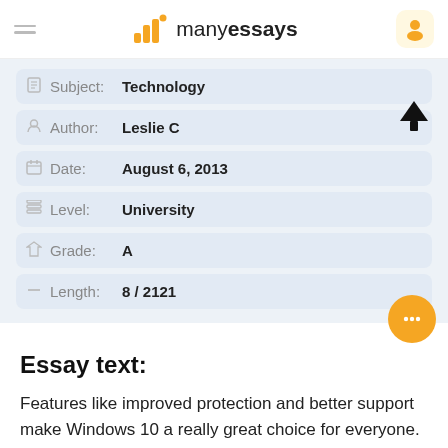manyessays
| Field | Value |
| --- | --- |
| Subject: | Technology |
| Author: | Leslie C |
| Date: | August 6, 2013 |
| Level: | University |
| Grade: | A |
| Length: | 8 / 2121 |
Essay text:
Features like improved protection and better support make Windows 10 a really great choice for everyone. All…